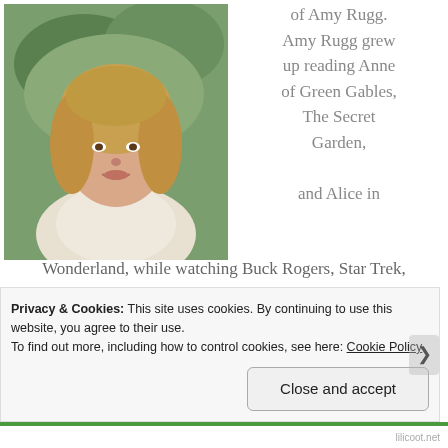[Figure (photo): Headshot of Amy Rugg, a smiling woman with blonde hair wearing a white lace top, outdoors with green foliage in the background.]
of Amy Rugg. Amy Rugg grew up reading Anne of Green Gables, The Secret Garden, and Alice in Wonderland, while watching Buck Rogers, Star Trek, and Doctor Who. Writing her own stories naturally ensued. She is a wife, mother, and former school counselor, with a Master's Degree in Counseling. Amy is from Colorado Springs, Co and currently resides
Privacy & Cookies: This site uses cookies. By continuing to use this website, you agree to their use.
To find out more, including how to control cookies, see here: Cookie Policy
Close and accept